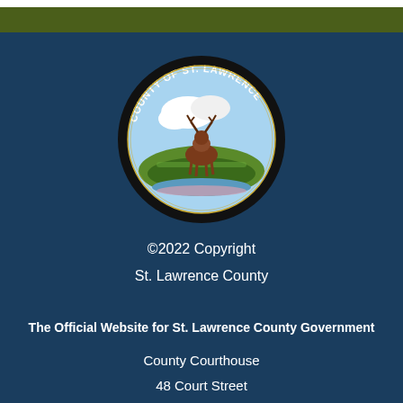[Figure (logo): County of St. Lawrence official seal — circular seal with a deer and agricultural landscape, black border with white text reading COUNTY OF ST. LAWRENCE]
©2022 Copyright
St. Lawrence County
The Official Website for St. Lawrence County Government
County Courthouse
48 Court Street